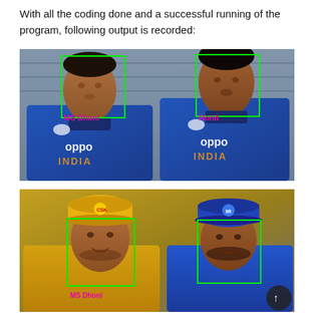With all the coding done and a successful running of the program, following output is recorded:
[Figure (photo): Photo of two cricket players in blue India jerseys (oppo sponsor). Green face-detection bounding boxes drawn around each face. Left player labeled 'MS Dhoni' in magenta text, right player labeled 'Rohit' in magenta text.]
[Figure (photo): Photo of two cricket players. Left player in yellow CSK cap labeled 'MS Dhoni' in magenta text with a green bounding box around face. Right player in blue MI cap labeled 'Rohit' in magenta text with a green bounding box around face. A dark circular scroll-up button visible in lower right corner.]